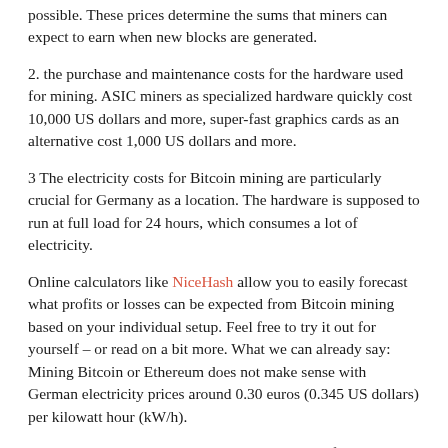possible. These prices determine the sums that miners can expect to earn when new blocks are generated.
2. the purchase and maintenance costs for the hardware used for mining. ASIC miners as specialized hardware quickly cost 10,000 US dollars and more, super-fast graphics cards as an alternative cost 1,000 US dollars and more.
3 The electricity costs for Bitcoin mining are particularly crucial for Germany as a location. The hardware is supposed to run at full load for 24 hours, which consumes a lot of electricity.
Online calculators like NiceHash allow you to easily forecast what profits or losses can be expected from Bitcoin mining based on your individual setup. Feel free to try it out for yourself – or read on a bit more. What we can already say: Mining Bitcoin or Ethereum does not make sense with German electricity prices around 0.30 euros (0.345 US dollars) per kilowatt hour (kW/h).
We have calculated the Bitcoin mining revenues for the...